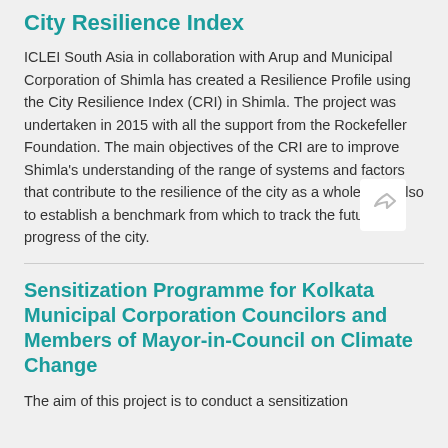City Resilience Index
ICLEI South Asia in collaboration with Arup and Municipal Corporation of Shimla has created a Resilience Profile using the City Resilience Index (CRI) in Shimla. The project was undertaken in 2015 with all the support from the Rockefeller Foundation. The main objectives of the CRI are to improve Shimla's understanding of the range of systems and factors that contribute to the resilience of the city as a whole, and also to establish a benchmark from which to track the future progress of the city.
Sensitization Programme for Kolkata Municipal Corporation Councilors and Members of Mayor-in-Council on Climate Change
The aim of this project is to conduct a sensitization